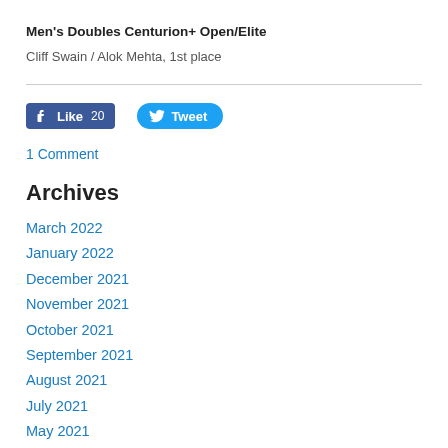Men's Doubles Centurion+ Open/Elite
Cliff Swain / Alok Mehta, 1st place
[Figure (other): Facebook Like button showing count 20 and Twitter Tweet button]
1 Comment
Archives
March 2022
January 2022
December 2021
November 2021
October 2021
September 2021
August 2021
July 2021
May 2021
October 2020